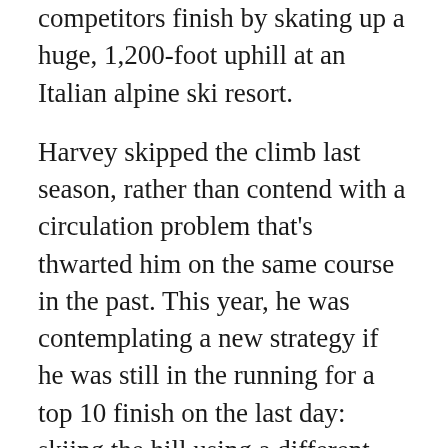competitors finish by skating up a huge, 1,200-foot uphill at an Italian alpine ski resort.
Harvey skipped the climb last season, rather than contend with a circulation problem that's thwarted him on the same course in the past. This year, he was contemplating a new strategy if he was still in the running for a top 10 finish on the last day: skiing the hill using a different technique – classical striding – with a special pair of boots and, potentially, a can of spray-on klister to apply at the appropriate time.
First, though, Harvey had to get through the Tour's penultimate stage, a 15-kilometer classical race on Saturday, on the steep cross-country trails in Val di